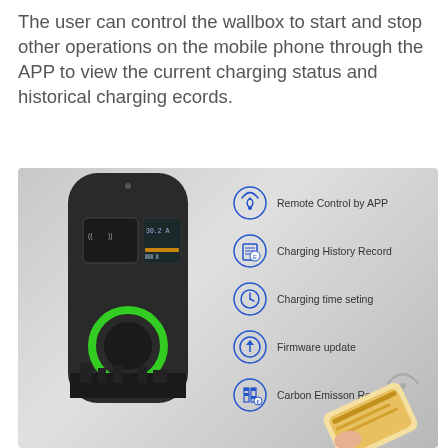The user can control the wallbox to start and stop other operations on the mobile phone through the APP to view the current charging status and historical charging ecords.
[Figure (infographic): EV wallbox charging station with app features listed: Remote Control by APP, Charging History Record, Charging time seting, Firmware update, Carbon Emisson Reduction. A smartphone showing an EV charging app is visible in the bottom right corner.]